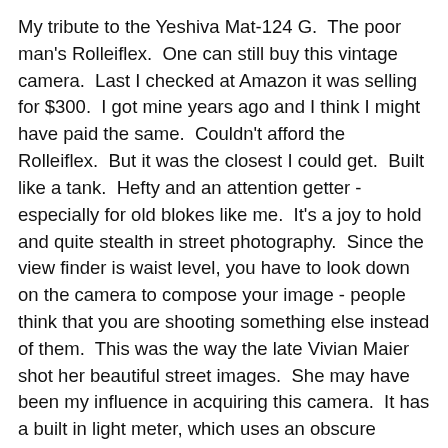My tribute to the Yeshiva Mat-124 G.  The poor man's Rolleiflex.  One can still buy this vintage camera.  Last I checked at Amazon it was selling for $300.  I got mine years ago and I think I might have paid the same.  Couldn't afford the Rolleiflex.  But it was the closest I could get.  Built like a tank.  Hefty and an attention getter - especially for old blokes like me.  It's a joy to hold and quite stealth in street photography.  Since the view finder is waist level, you have to look down on the camera to compose your image - people think that you are shooting something else instead of them.  This was the way the late Vivian Maier shot her beautiful street images.  She may have been my influence in acquiring this camera.  It has a built in light meter, which uses an obscure battery.  Don't bother getting one because the meter doesn't work.  At least on mine, and it's in excellent shape apart from the meter.  I've heard people complained about the lagging shutter.  This should not be a big issue for most use since film is very forgiving.  You can either just push or pull during the developing process.
Specifications:
6 x 6 Twin lens Reflex Medium format film...